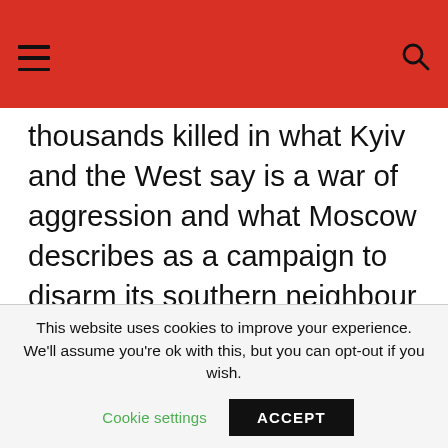thousands killed in what Kyiv and the West say is a war of aggression and what Moscow describes as a campaign to disarm its southern neighbour and root out people it calls dangerous nationalists.
(Reporting by Aleksandar Vasovic; Editing by Tom Balmforth and Tomasz Janowski)
This website uses cookies to improve your experience. We'll assume you're ok with this, but you can opt-out if you wish. Cookie settings  ACCEPT